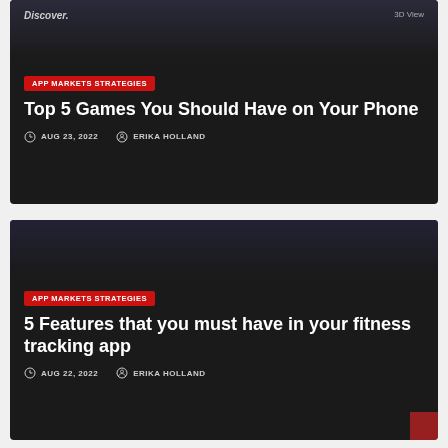[Figure (screenshot): Dark themed mobile app screenshot showing discover screen with phone mockups]
APP MARKETS STRATEGIES
Top 5 Games You Should Have on Your Phone
AUG 23, 2022  ERIKA HOLLAND
[Figure (screenshot): Dark background second card image area]
APP MARKETS STRATEGIES
5 Features that you must have in your fitness tracking app
AUG 22, 2022  ERIKA HOLLAND